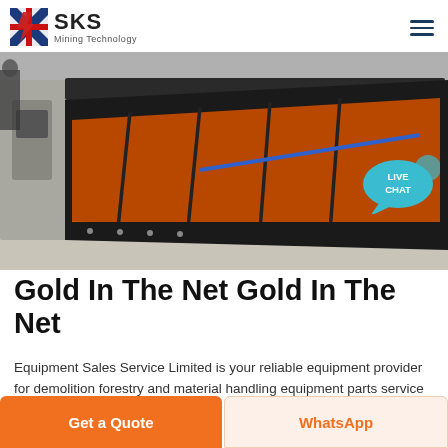SKS Mining Technology
[Figure (photo): Industrial conveyor/shaker table mining equipment with orange rubber mat surface, black metal frame, photographed indoors on a concrete floor. A 'LIVE CHAT' speech bubble badge is overlaid in the top-right corner.]
Gold In The Net Gold In The Net
Equipment Sales Service Limited is your reliable equipment provider for demolition forestry and material handling equipment parts service in Ontario, Alberta, in to